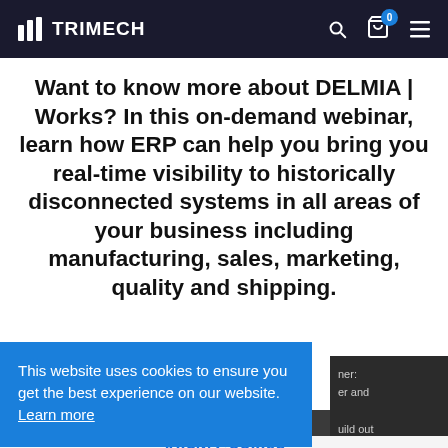TRIMECH
Want to know more about DELMIA | Works? In this on-demand webinar, learn how ERP can help you bring you real-time visibility to historically disconnected systems in all areas of your business including manufacturing, sales, marketing, quality and shipping.
This website uses cookies to ensure you get the best experience on our website. Learn more
Allow Cookies
ner: er and
uild out ty to